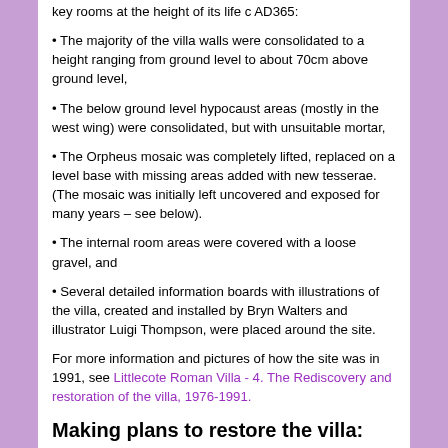key rooms at the height of its life c AD365:
• The majority of the villa walls were consolidated to a height ranging from ground level to about 70cm above ground level,
• The below ground level hypocaust areas (mostly in the west wing) were consolidated, but with unsuitable mortar,
• The Orpheus mosaic was completely lifted, replaced on a level base with missing areas added with new tesserae. (The mosaic was initially left uncovered and exposed for many years – see below).
• The internal room areas were covered with a loose gravel, and
• Several detailed information boards with illustrations of the villa, created and installed by Bryn Walters and illustrator Luigi Thompson, were placed around the site.
For more information and pictures of how the site was in 1991, see Littlecote Roman Villa - 4. The Rediscovery and restoration of the villa, 1976-1991.
Making plans to restore the villa:
The Hungerford Historical Association was founded by Hugh and Lois Pihlens in 1979. At that time, the big local historical